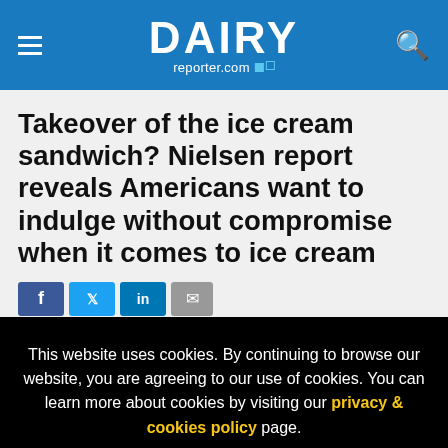DAIRY reporter.com
Takeover of the ice cream sandwich? Nielsen report reveals Americans want to indulge without compromise when it comes to ice cream
This website uses cookies. By continuing to browse our website, you are agreeing to our use of cookies. You can learn more about cookies by visiting our privacy & cookies policy page.
I Agree